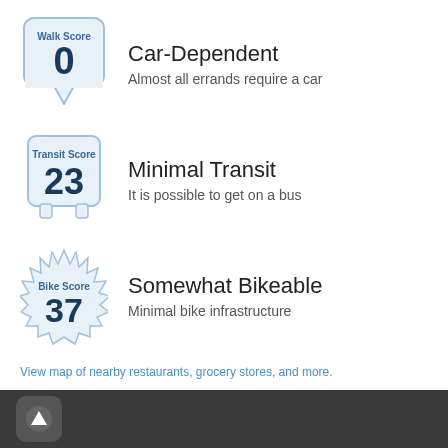[Figure (infographic): Walk Score badge showing score 0 with speech bubble shape, label 'Walk Score']
Car-Dependent
Almost all errands require a car
[Figure (infographic): Transit Score badge showing score 23 with bus shape, label 'Transit Score']
Minimal Transit
It is possible to get on a bus
[Figure (infographic): Bike Score badge showing score 37 with gear/starburst shape, label 'Bike Score']
Somewhat Bikeable
Minimal bike infrastructure
View map of nearby restaurants, grocery stores, and more.
Get scores for your address